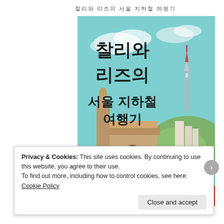찰리와 리즈의 서울 지하철 여행기
[Figure (illustration): Book cover illustration showing Korean title '찰리와 리즈의 서울 지하철 여행기' (Charlie and Liz's Seoul Subway Travel) against a light blue sky background with Seoul N Tower, a historic gate/arch, and buildings. Author credits in Korean: 찰리 여자 쓰고, 리즈 아벨 그림을 레다, 문보영 옮김]
Privacy & Cookies: This site uses cookies. By continuing to use this website, you agree to their use.
To find out more, including how to control cookies, see here: Cookie Policy
Close and accept